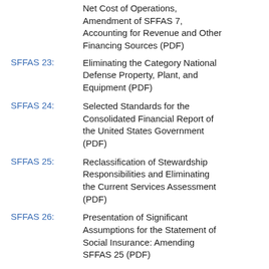Net Cost of Operations, Amendment of SFFAS 7, Accounting for Revenue and Other Financing Sources (PDF)
SFFAS 23: Eliminating the Category National Defense Property, Plant, and Equipment (PDF)
SFFAS 24: Selected Standards for the Consolidated Financial Report of the United States Government (PDF)
SFFAS 25: Reclassification of Stewardship Responsibilities and Eliminating the Current Services Assessment (PDF)
SFFAS 26: Presentation of Significant Assumptions for the Statement of Social Insurance: Amending SFFAS 25 (PDF)